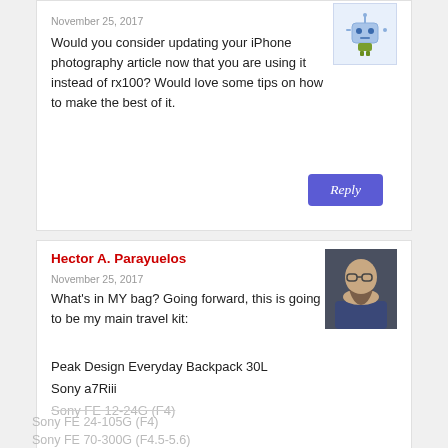November 25, 2017
Would you consider updating your iPhone photography article now that you are using it instead of rx100? Would love some tips on how to make the best of it.
Reply
Hector A. Parayuelos
November 25, 2017
What's in MY bag? Going forward, this is going to be my main travel kit:
Peak Design Everyday Backpack 30L
Sony a7Riii
Sony FE 12-24G (F4)
Sony FE 24-105G (F4)
Sony FE 70-300G (F4.5-5.6)